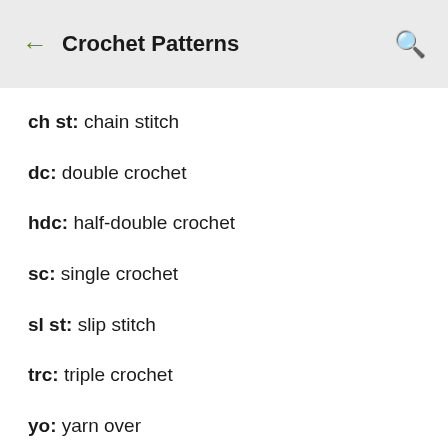Crochet Patterns
ch st: chain stitch
dc: double crochet
hdc: half-double crochet
sc: single crochet
sl st: slip stitch
trc: triple crochet
yo: yarn over
tr: treble crochet